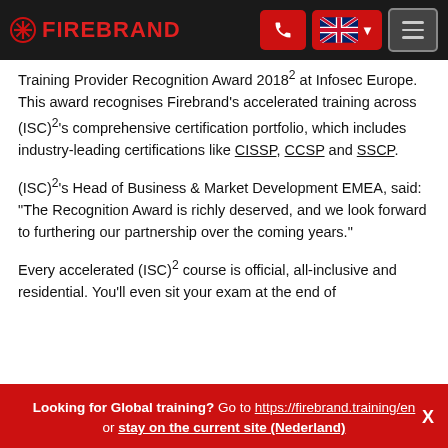FIREBRAND
Training Provider Recognition Award 2018² at Infosec Europe. This award recognises Firebrand’s accelerated training across (ISC)²’s comprehensive certification portfolio, which includes industry-leading certifications like CISSP, CCSP and SSCP.
(ISC)²’s Head of Business & Market Development EMEA, said: “The Recognition Award is richly deserved, and we look forward to furthering our partnership over the coming years.”
Every accelerated (ISC)² course is official, all-inclusive and residential. You’ll even sit your exam at the end of
Looking for Global training? Go to https://firebrand.training/en or stay on the current site (Nederland) X